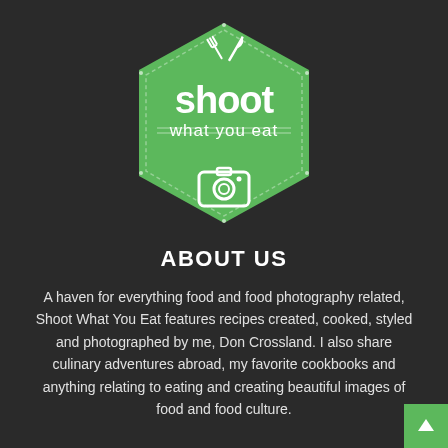[Figure (logo): Hexagonal green logo with fork and knife icon at top, text 'shoot what you eat' in white, and camera icon at bottom]
ABOUT US
A haven for everything food and food photography related, Shoot What You Eat features recipes created, cooked, styled and photographed by me, Don Crossland. I also share culinary adventures abroad, my favorite cookbooks and anything relating to eating and creating beautiful images of food and food culture.